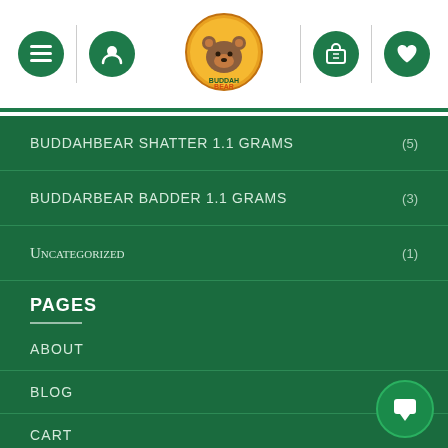[Figure (logo): BuddahBear logo with bear illustration in circular badge]
BUDDAHBEAR SHATTER 1.1 GRAMS (5)
BUDDARBEAR BADDER 1.1 GRAMS (3)
Uncategorized (1)
PAGES
ABOUT
BLOG
CART
CHECKOUT
CONTACT